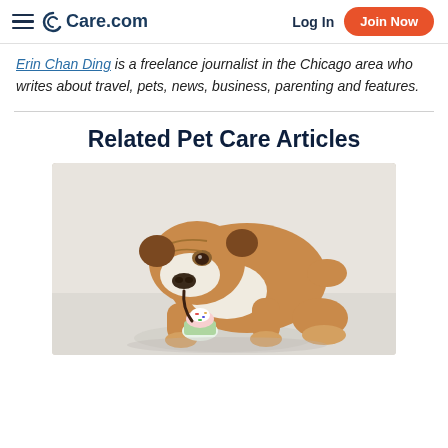Care.com — Log In | Join Now
Erin Chan Ding is a freelance journalist in the Chicago area who writes about travel, pets, news, business, parenting and features.
Related Pet Care Articles
[Figure (photo): An English Bulldog puppy bending down to sniff or eat a small colorful cupcake on a white floor, studio setting with light background.]